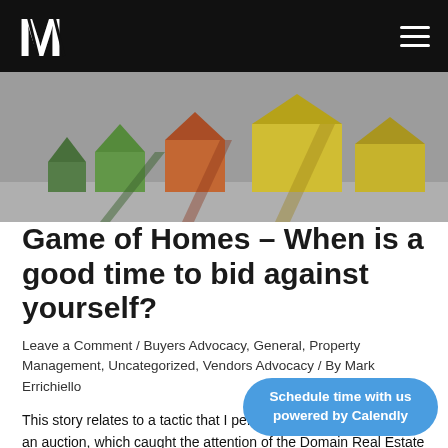[Figure (logo): White stylized M logo on black navigation bar]
[Figure (photo): Row of colorful paper house models in green, orange, red, and yellow tones on a grey background]
Game of Homes – When is a good time to bid against yourself?
Leave a Comment / Buyers Advocacy, General, Property Management, Uncategorized, Vendors Advocacy / By Mark Errichiello
This story relates to a tactic that I performed two weeks ago at an auction, which caught the attention of the Domain Real Estate journalists.   In the west, bedroom house at 20 Allan Stre bid against his own buyer's advocate at the tail end of 100
Schedule time with us powered by Calendly